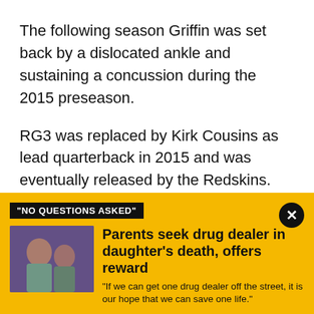The following season Griffin was set back by a dislocated ankle and sustaining a concussion during the 2015 preseason.
RG3 was replaced by Kirk Cousins as lead quarterback in 2015 and was eventually released by the Redskins.
Griffin signed with the Browns in 2016, but was released from Cleveland after one season.
[Figure (infographic): Ad banner with yellow background. Black label reading "NO QUESTIONS ASKED". Photo of two people smiling. Headline: Parents seek drug dealer in daughter's death, offers reward. Subtext: "If we can get one drug dealer off the street, it is our hope that we can save one life."]